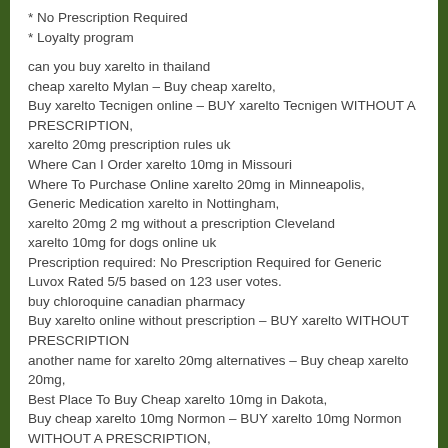* No Prescription Required
* Loyalty program
can you buy xarelto in thailand
cheap xarelto Mylan – Buy cheap xarelto,
Buy xarelto Tecnigen online – BUY xarelto Tecnigen WITHOUT A PRESCRIPTION,
xarelto 20mg prescription rules uk
Where Can I Order xarelto 10mg in Missouri
Where To Purchase Online xarelto 20mg in Minneapolis,
Generic Medication xarelto in Nottingham,
xarelto 20mg 2 mg without a prescription Cleveland
xarelto 10mg for dogs online uk
Prescription required: No Prescription Required for Generic Luvox Rated 5/5 based on 123 user votes.
buy chloroquine canadian pharmacy
Buy xarelto online without prescription – BUY xarelto WITHOUT PRESCRIPTION
another name for xarelto 20mg alternatives – Buy cheap xarelto 20mg,
Best Place To Buy Cheap xarelto 10mg in Dakota,
Buy cheap xarelto 10mg Normon – BUY xarelto 10mg Normon WITHOUT A PRESCRIPTION,
Best prices for generic xarelto 10mg – BUY xarelto 10mg WITHOUT A PRESCRIPTION,